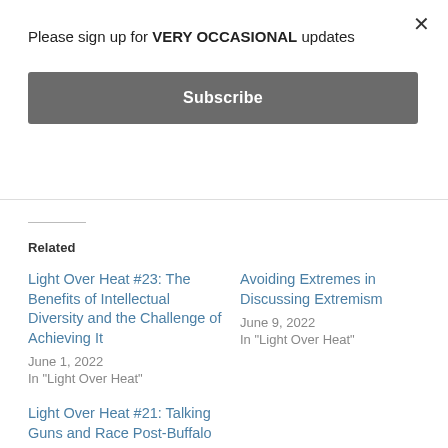Please sign up for VERY OCCASIONAL updates
Subscribe
Related
Light Over Heat #23: The Benefits of Intellectual Diversity and the Challenge of Achieving It
June 1, 2022
In "Light Over Heat"
Avoiding Extremes in Discussing Extremism
June 9, 2022
In "Light Over Heat"
Light Over Heat #21: Talking Guns and Race Post-Buffalo
May 18, 2022
In "Light Over Heat"